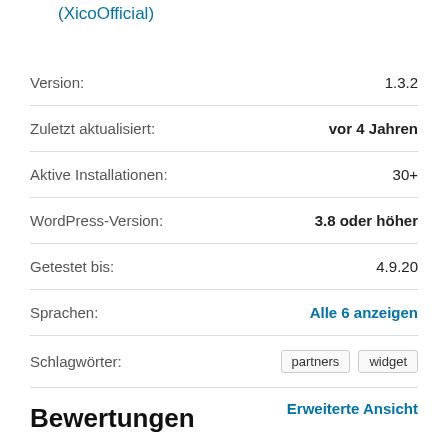(XicoOfficial)
| Label | Value |
| --- | --- |
| Version: | 1.3.2 |
| Zuletzt aktualisiert: | vor 4 Jahren |
| Aktive Installationen: | 30+ |
| WordPress-Version: | 3.8 oder höher |
| Getestet bis: | 4.9.20 |
| Sprachen: | Alle 6 anzeigen |
| Schlagwörter: | partners  widget |
Erweiterte Ansicht
Bewertungen